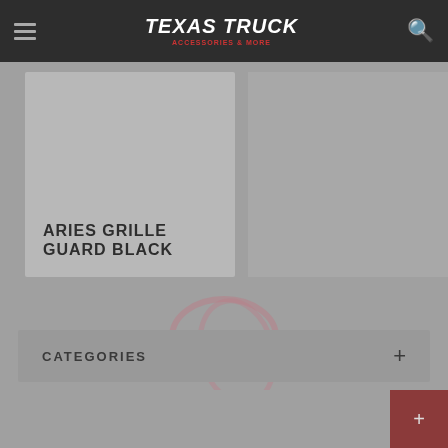Texas Truck
ARIES GRILLE GUARD BLACK
[Figure (illustration): Circular oval logo watermark in faded pink/red on gray background]
CATEGORIES
BRANDS